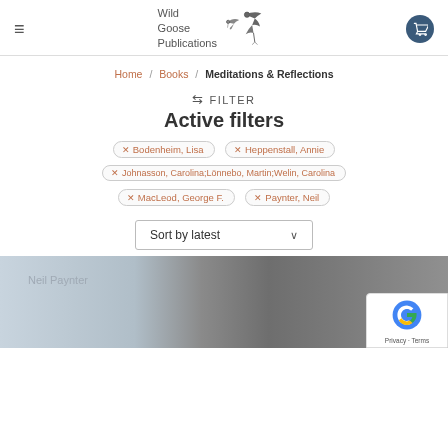Wild Goose Publications
Home / Books / Meditations & Reflections
⇌ FILTER
Active filters
× Bodenheim, Lisa
× Heppenstall, Annie
× Johnasson, Carolina;Lönnebo, Martin;Welin, Carolina
× MacLeod, George F.
× Paynter, Neil
Sort by latest
[Figure (photo): Partial book cover showing 'Neil Paynter' author name over a stone or textured surface background]